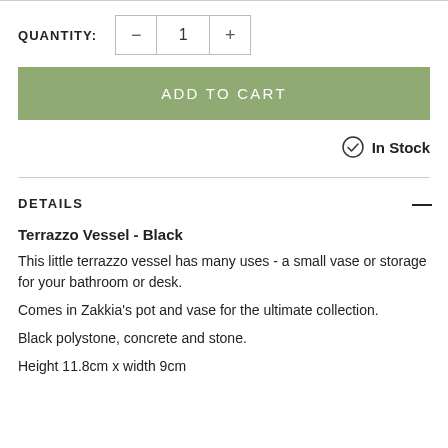QUANTITY: 1
ADD TO CART
In Stock
DETAILS
Terrazzo Vessel - Black
This little terrazzo vessel has many uses - a small vase or storage for your bathroom or desk.
Comes in Zakkia's pot and vase for the ultimate collection.
Black polystone, concrete and stone.
Height 11.8cm x width 9cm